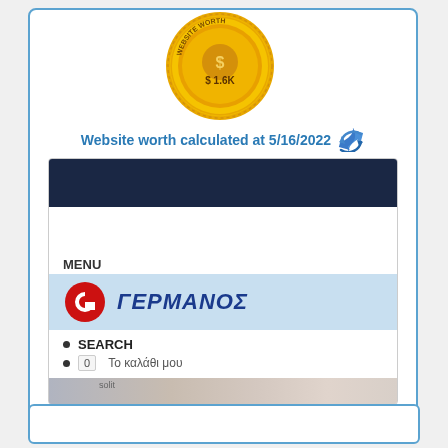[Figure (infographic): Gold medal/seal badge with 'WEBSITE WORTH' text around rim and '$1.6K' in center]
Website worth calculated at 5/16/2022
[Figure (screenshot): Screenshot of germanos.gr website showing dark navy header, MENU label, Germanos logo (red G icon) and ΓΕΡΜΑΝΟΣ text in blue, navigation items SEARCH and Το καλάθι μου with cart badge showing 0, and partial photo at bottom. siteprice.org watermark in corner.]